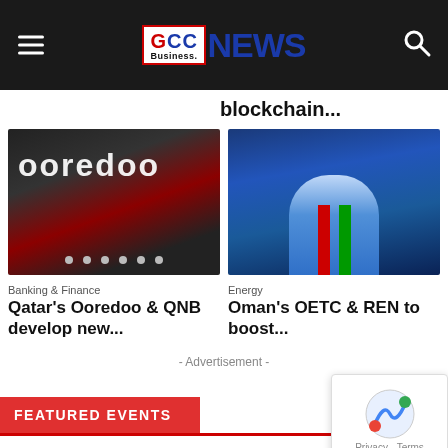GCC Business NEWS
blockchain...
[Figure (photo): Ooredoo illuminated sign on ceiling with lights]
Banking & Finance
Qatar's Ooredoo & QNB develop new...
[Figure (photo): Oman's OETC building illuminated at night with colorful lights]
Energy
Oman's OETC & REN to boost...
- Advertisement -
FEATURED EVENTS